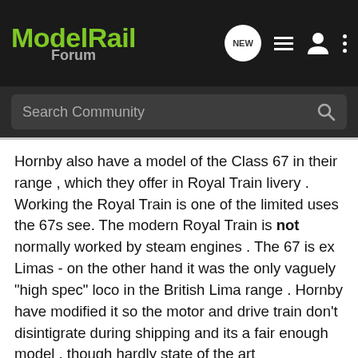ModelRail Forum
Hornby also have a model of the Class 67 in their range , which they offer in Royal Train livery . Working the Royal Train is one of the limited uses the 67s see. The modern Royal Train is not normally worked by steam engines . The 67 is ex Limas - on the other hand it was the only vaguely "high spec" loco in the British Lima range . Hornby have modified it so the motor and drive train don't disintigrate during shipping and its a fair enough model , though hardly state of the art
But apparently this set features a 1930s steam engine , not a 67.
I would guess that Hornby have simply painted a couple of their standard Mk3s in Royal Train livery. Although the right general sort of coach, most coaches in the set would not be accurate